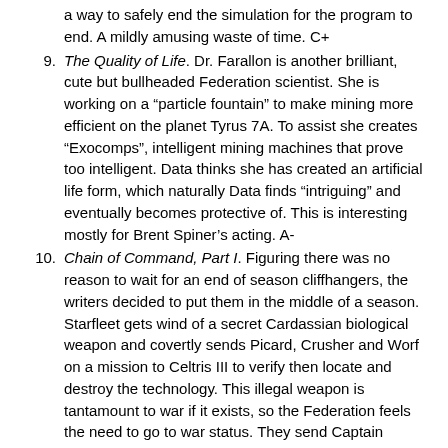a way to safely end the simulation for the program to end. A mildly amusing waste of time. C+
9. The Quality of Life. Dr. Farallon is another brilliant, cute but bullheaded Federation scientist. She is working on a “particle fountain” to make mining more efficient on the planet Tyrus 7A. To assist she creates “Exocomps”, intelligent mining machines that prove too intelligent. Data thinks she has created an artificial life form, which naturally Data finds “intriguing” and eventually becomes protective of. This is interesting mostly for Brent Spiner’s acting. A-
10. Chain of Command, Part I. Figuring there was no reason to wait for an end of season cliffhangers, the writers decided to put them in the middle of a season. Starfleet gets wind of a secret Cardassian biological weapon and covertly sends Picard, Crusher and Worf on a mission to Celtris III to verify then locate and destroy the technology. This illegal weapon is tantamount to war if it exists, so the Federation feels the need to go to war status. They send Captain Edward Jellico to take over Picard’s command,